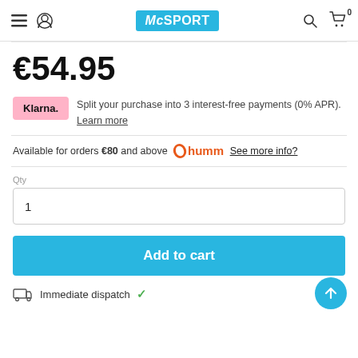McSPORT navigation header with menu, user, logo, search, cart icons
€54.95
Split your purchase into 3 interest-free payments (0% APR). Learn more
Available for orders €80 and above  See more info?
Qty 1
Add to cart
Immediate dispatch ✓